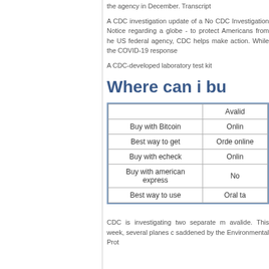the agency in December. Transcript
A CDC investigation update of a No CDC Investigation Notice regarding a globe - to protect Americans from he US federal agency, CDC helps make action. While the COVID-19 response
A CDC-developed laboratory test kit
Where can i bu
|  | Avalid |
| --- | --- |
| Buy with Bitcoin | Onlin |
| Best way to get | Orde online |
| Buy with echeck | Onlin |
| Buy with american express | No |
| Best way to use | Oral ta |
CDC is investigating two separate m avalide. This week, several planes c saddened by the Environmental Prot